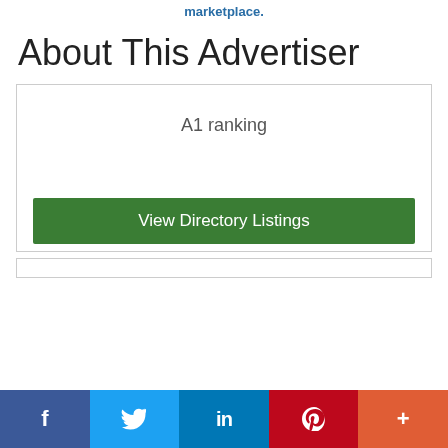marketplace.
About This Advertiser
A1 ranking
View Directory Listings
f  [Twitter bird]  in  P  +